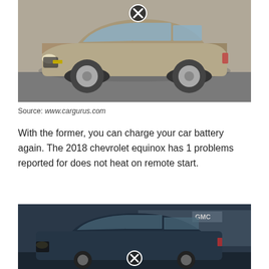[Figure (photo): Photo of a silver/tan 2018 Chevrolet Equinox SUV parked in a dealership lot, with a circular X overlay icon near the top center of the vehicle]
Source: www.cargurus.com
With the former, you can charge your car battery again. The 2018 chevrolet equinox has 1 problems reported for does not heat on remote start.
[Figure (photo): Photo of a dark blue 2013 Chevrolet Equinox 1LT FWD at a GMC dealership, with bold white text overlay reading '2013 CHEVROLET EQUINOX 1LT FWD' and a circular X overlay icon near the bottom center]